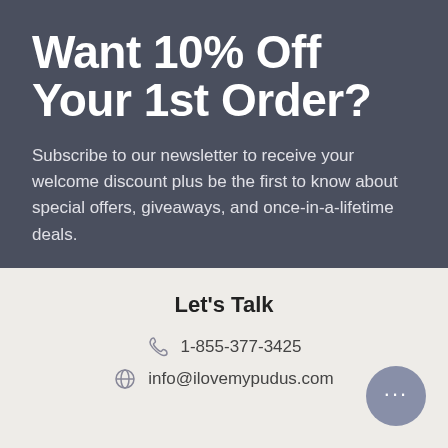Want 10% Off Your 1st Order?
Subscribe to our newsletter to receive your welcome discount plus be the first to know about special offers, giveaways, and once-in-a-lifetime deals.
Let's Talk
1-855-377-3425
info@ilovemypudus.com